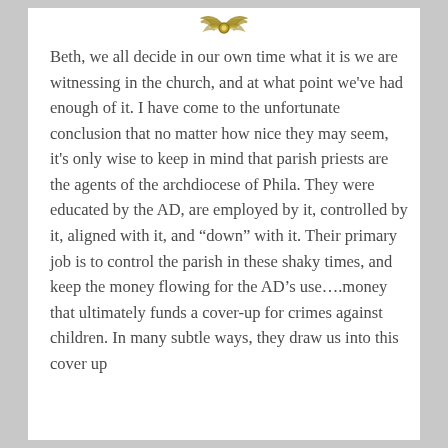[Figure (logo): Gold/olive colored decorative logo or emblem at top center]
Beth, we all decide in our own time what it is we are witnessing in the church, and at what point we've had enough of it. I have come to the unfortunate conclusion that no matter how nice they may seem, it's only wise to keep in mind that parish priests are the agents of the archdiocese of Phila. They were educated by the AD, are employed by it, controlled by it, aligned with it, and “down” with it. Their primary job is to control the parish in these shaky times, and keep the money flowing for the AD’s use….money that ultimately funds a cover-up for crimes against children. In many subtle ways, they draw us into this cover up